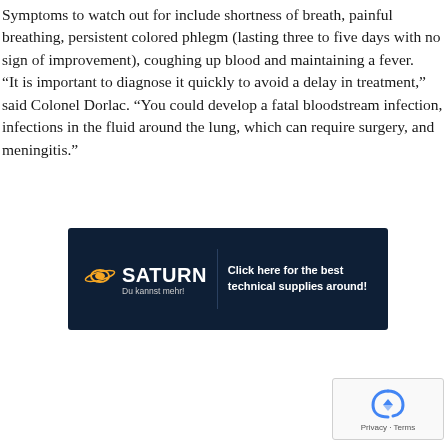Symptoms to watch out for include shortness of breath, painful breathing, persistent colored phlegm (lasting three to five days with no sign of improvement), coughing up blood and maintaining a fever. “It is important to diagnose it quickly to avoid a delay in treatment,” said Colonel Dorlac. “You could develop a fatal bloodstream infection, infections in the fluid around the lung, which can require surgery, and meningitis.”
[Figure (other): Saturn advertisement banner with dark navy background, Saturn planet logo in orange/white, text 'SATURN Du kannst mehr!' on left side and 'Click here for the best technical supplies around!' on right side.]